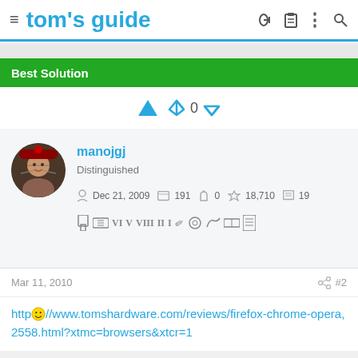tom's guide
Best Solution
🏆 ⬆ 0 ⬇
manojgj
Distinguished
Dec 21, 2009  191  0  18,710  19
Mar 11, 2010  #2
http://www.tomshardware.com/reviews/firefox-chrome-opera,2558.html?xtmc=browsers&xtcr=1